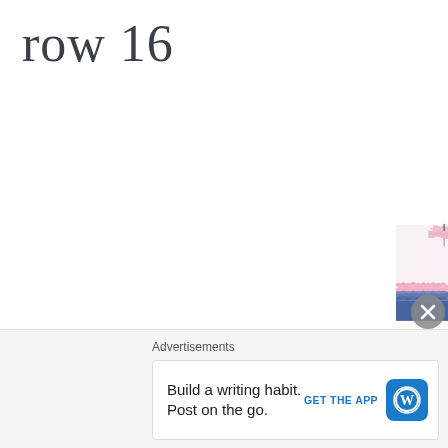row 16
[Figure (photo): Close-up photograph of crochet work showing pink and blue yarn stitches with a pink crocheted border at the top, against a white background. Crochet hook visible at top right.]
Advertisements
Build a writing habit.
Post on the go.
GET THE APP